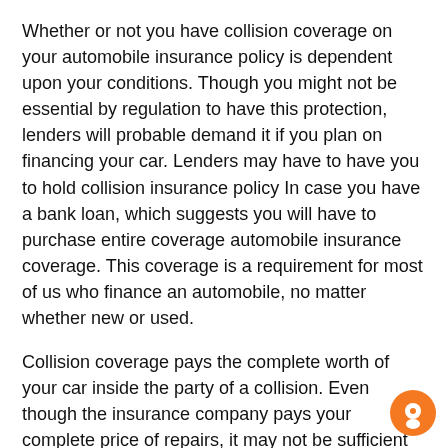Whether or not you have collision coverage on your automobile insurance policy is dependent upon your conditions. Though you might not be essential by regulation to have this protection, lenders will probable demand it if you plan on financing your car. Lenders may have to have you to hold collision insurance policy In case you have a bank loan, which suggests you will have to purchase entire coverage automobile insurance coverage. This coverage is a requirement for most of us who finance an automobile, no matter whether new or used.
Collision coverage pays the complete worth of your car inside the party of a collision. Even though the insurance company pays your complete price of repairs, it may not be sufficient to exchange the car if it's stolen or totaled. You may additionally must spend some personalized dollars to exchange the vehicle. Should you have this type of protection, you should definitely recognize the terms and conditions ahead of purchasing car insurance policies. It